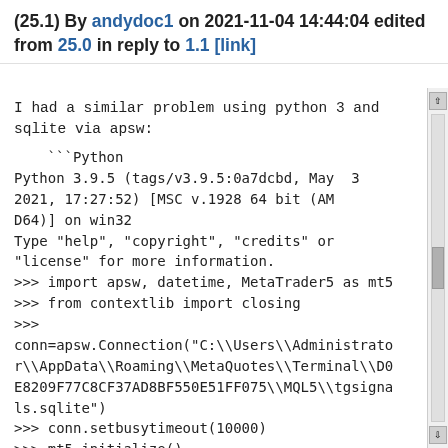(25.1) By andydoc1 on 2021-11-04 14:44:04 edited from 25.0 in reply to 1.1 [link]
I had a similar problem using python 3 and sqlite via apsw:
```Python
Python 3.9.5 (tags/v3.9.5:0a7dcbd, May  3 2021, 17:27:52) [MSC v.1928 64 bit (AM D64)] on win32
Type "help", "copyright", "credits" or "license" for more information.
>>> import apsw, datetime, MetaTrader5 as mt5
>>> from contextlib import closing
>>>
conn=apsw.Connection("C:\\Users\\Administrator\\AppData\\Roaming\\MetaQuotes\\Terminal\\D0E8209F77C8CF37AD8BF550E51FF075\\MQL5\\tgsignals.sqlite")
>>> conn.setbusytimeout(10000)
>>> mt5.initialize()
True
>>> utc_to =
datetime.datetime.now().replace(tzinfo=datetime.timezone.utc).timestamp()
>>> utc_from = utc_to-300
>>> ratesm5 = mt5.copy_rates_range("USDJPY"